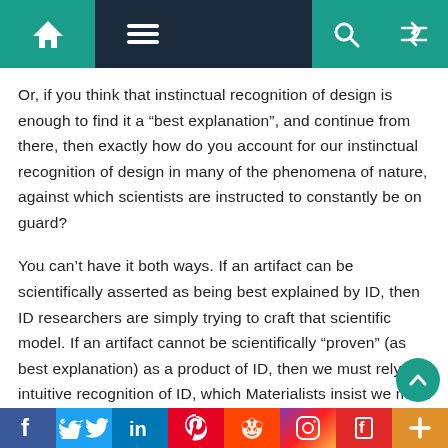Navigation bar with home, menu, search, and shuffle icons
Or, if you think that instinctual recognition of design is enough to find it a “best explanation”, and continue from there, then exactly how do you account for our instinctual recognition of design in many of the phenomena of nature, against which scientists are instructed to constantly be on guard?
You can’t have it both ways. If an artifact can be scientifically asserted as being best explained by ID, then ID researchers are simply trying to craft that scientific model. If an artifact cannot be scientifically “proven” (as best explanation) as a product of ID, then we must rely on intuitive recognition of ID, which Materialists insist we must set aside when it com
f  Twitter  in  Pinterest  Reddit  Instagram  Flipboard  +